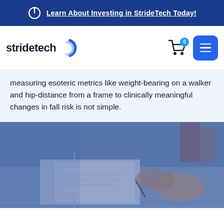Learn About Investing in StrideTech Today!
[Figure (logo): StrideTech logo with circular icon]
measuring esoteric metrics like weight-bearing on a walker and hip-distance from a frame to clinically meaningful changes in fall risk is not simple.
[Figure (photo): A person writing or drawing on paper, viewed from above, with a blue toned overlay]